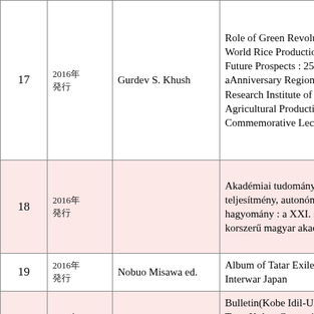| No. | Year | Author | Title |
| --- | --- | --- | --- |
| 17 | 2016年
発行 | Gurdev S. Khush | Role of Green Revolution for World Rice Production and Future Prospects : 25th aAnniversary Regional Research Institute of Agricultural Production Commemorative Lecture |
| 18 | 2016年
発行 |  | Akadémiai tudomány teljesítmény, autonómia, hagyomány : a XXI. század korszerű magyar akadémiája |
| 19 | 2016年
発行 | Nobuo Misawa ed. | Album of Tatar Exiles in Interwar Japan |
| 20 | 2016年
発行 | Nobuo Misawa ed. | Bulletin(Kobe Idil-Ural Turk-Tatar Kultur Cemaati) : Part 1 Original Text : NO.1〜48(1934) |
| 21 | 2016年
発行 | ○○○○○○○○○○ | ○○○○○○ = Tour of Special Interests : ○ |